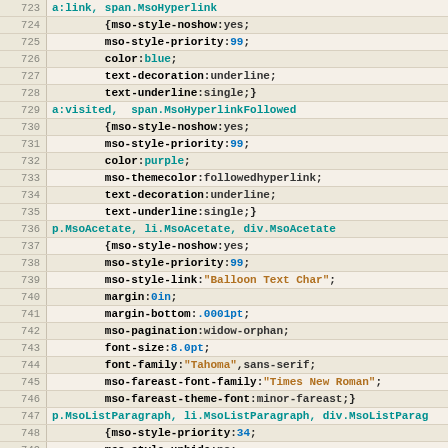[Figure (screenshot): Code editor screenshot showing CSS/HTML style definitions, lines 723-755, with syntax highlighting: line numbers in gray on left, property names in bold black, values with color keywords in teal/blue, string values in orange-brown. Background is beige/tan.]